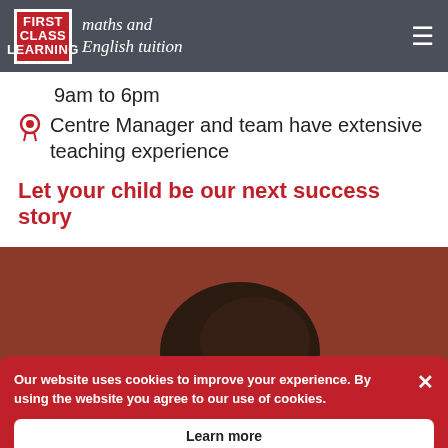First Class Learning — maths and English tuition
9am to 6pm
Centre Manager and team have extensive teaching experience
Let your child be our next success story
[Figure (photo): Child with head resting on arms, viewed from above, against a reddish-brown background]
Our website uses cookies to improve your experience. By using the website you agree to our use of cookies.
Learn more